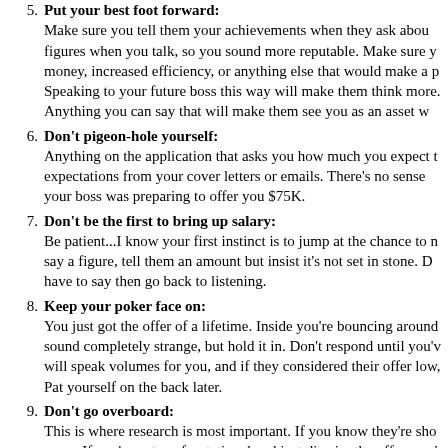5. Put your best foot forward: Make sure you tell them your achievements when they ask about figures when you talk, so you sound more reputable. Make sure you mention money, increased efficiency, or anything else that would make a p... Speaking to your future boss this way will make them think more... Anything you can say that will make them see you as an asset w...
6. Don't pigeon-hole yourself: Anything on the application that asks you how much you expect t... expectations from your cover letters or emails. There's no sense... your boss was preparing to offer you $75K.
7. Don't be the first to bring up salary: Be patient...I know your first instinct is to jump at the chance to n... say a figure, tell them an amount but insist it's not set in stone. D... have to say then go back to listening.
8. Keep your poker face on: You just got the offer of a lifetime. Inside you're bouncing around... sound completely strange, but hold it in. Don't respond until you'v... will speak volumes for you, and if they considered their offer low,... Pat yourself on the back later.
9. Don't go overboard: This is where research is most important. If you know they're sho... away. If you're not confrontational and just dismiss the offer, you'... back with a better offer. However, on the other side of the coin th... a reasonable offer because you were greedy and wanted more m... get.
10. Roll with the punches: Depending on how bad you need the job, you may want to consi...